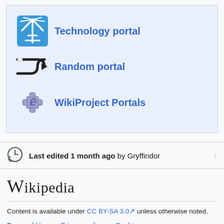Technology portal
Random portal
WikiProject Portals
Last edited 1 month ago by Gryffindor
[Figure (logo): Wikipedia wordmark logo]
Content is available under CC BY-SA 3.0 unless otherwise noted.
Terms of Use • Privacy policy • Desktop